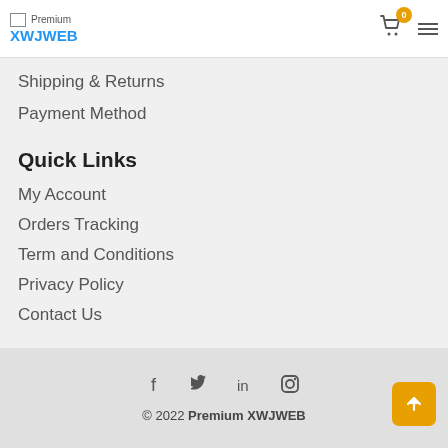Premium XWJWEB
Shipping & Returns
Payment Method
Quick Links
My Account
Orders Tracking
Term and Conditions
Privacy Policy
Contact Us
© 2022 Premium XWJWEB